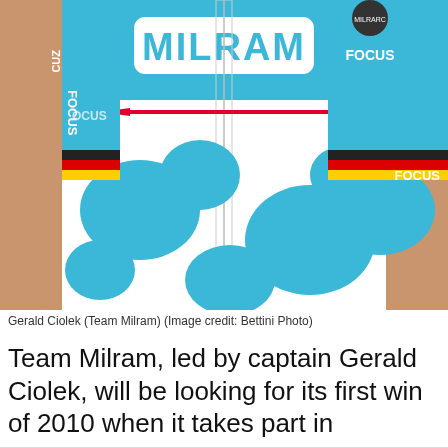[Figure (photo): A cyclist wearing a Team Milram jersey (light blue and white with cow-spot pattern, MILRAM text on chest, Focus bike sponsor on sleeves with German flag stripe bands). The photo shows the torso and upper body of the rider.]
Gerald Ciolek (Team Milram) (Image credit: Bettini Photo)
Team Milram, led by captain Gerald Ciolek, will be looking for its first win of 2010 when it takes part in